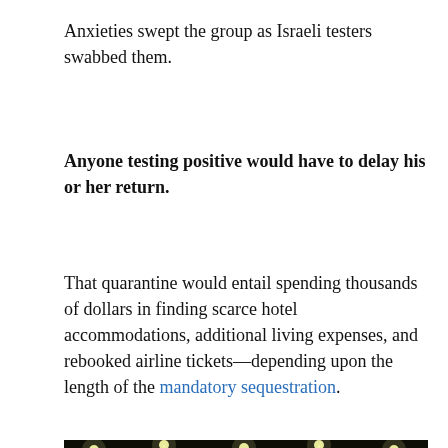Anxieties swept the group as Israeli testers swabbed them.
Anyone testing positive would have to delay his or her return.
That quarantine would entail spending thousands of dollars in finding scarce hotel accommodations, additional living expenses, and rebooked airline tickets—depending upon the length of the mandatory sequestration.
[Figure (photo): Night scene showing a group of people walking along a path or bridge near a field, with stadium or floodlights illuminating a structure in the background, taken in darkness with green grass visible in the foreground.]